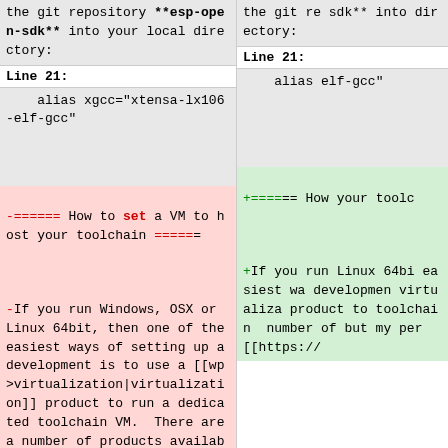the git repository **esp-open-sdk** into your local directory:
the git re sdk** into directory:
Line 21:
Line 21:
alias xgcc="xtensa-lx106-elf-gcc"
alias elf-gcc"
-====== How to set a VM to host your toolchain ======
+====== How your toolc
-If you run Windows, OSX or Linux 64bit, then one of the easiest ways of setting up a development is to use a [[wp>virtualization|virtualization]] product to run a dedicated toolchain VM.  There are a number of products available, but my personal preference is [[https://www.virtualbox.org/
+If you run Linux 64bi easiest wa developmen virtualiza product to toolchain number of but my per [[https://